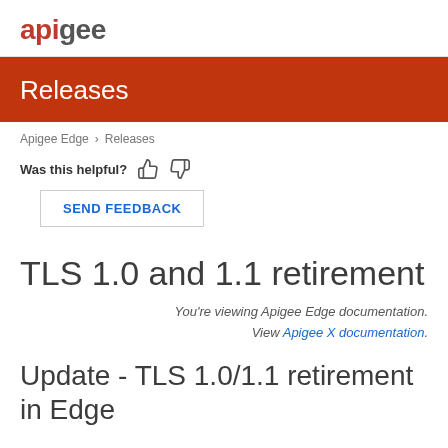apigee
Releases
Apigee Edge > Releases
Was this helpful?
SEND FEEDBACK
TLS 1.0 and 1.1 retirement
You're viewing Apigee Edge documentation. View Apigee X documentation.
Update - TLS 1.0/1.1 retirement in Edge